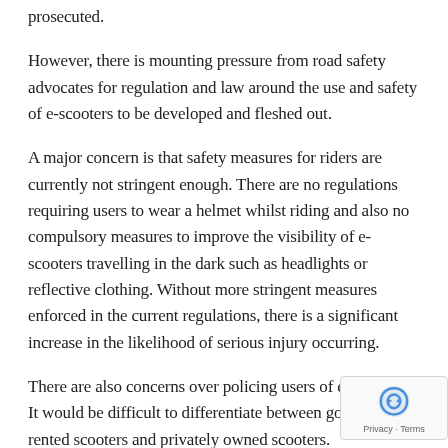prosecuted.
However, there is mounting pressure from road safety advocates for regulation and law around the use and safety of e-scooters to be developed and fleshed out.
A major concern is that safety measures for riders are currently not stringent enough. There are no regulations requiring users to wear a helmet whilst riding and also no compulsory measures to improve the visibility of e-scooters travelling in the dark such as headlights or reflective clothing. Without more stringent measures enforced in the current regulations, there is a significant increase in the likelihood of serious injury occurring.
There are also concerns over policing users of e-scooters. It would be difficult to differentiate between government rented scooters and privately owned scooters.